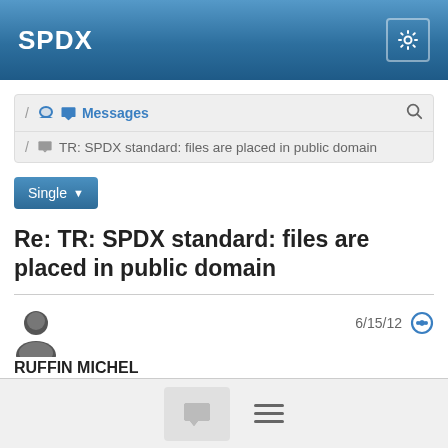SPDX
/ Messages
/ TR: SPDX standard: files are placed in public domain
Single
Re: TR: SPDX standard: files are placed in public domain
RUFFIN MICHEL  6/15/12
I need to think a little bit about it with our lawyers on the potential consequences before answering you.